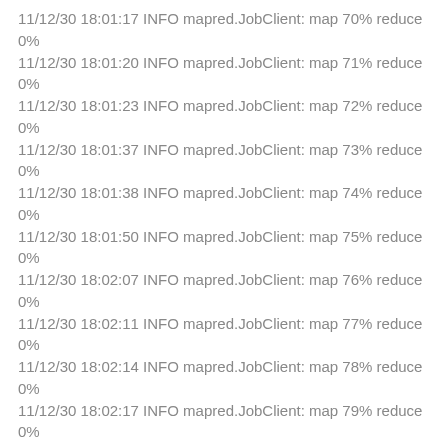11/12/30 18:01:17 INFO mapred.JobClient: map 70% reduce 0%
11/12/30 18:01:20 INFO mapred.JobClient: map 71% reduce 0%
11/12/30 18:01:23 INFO mapred.JobClient: map 72% reduce 0%
11/12/30 18:01:37 INFO mapred.JobClient: map 73% reduce 0%
11/12/30 18:01:38 INFO mapred.JobClient: map 74% reduce 0%
11/12/30 18:01:50 INFO mapred.JobClient: map 75% reduce 0%
11/12/30 18:02:07 INFO mapred.JobClient: map 76% reduce 0%
11/12/30 18:02:11 INFO mapred.JobClient: map 77% reduce 0%
11/12/30 18:02:14 INFO mapred.JobClient: map 78% reduce 0%
11/12/30 18:02:17 INFO mapred.JobClient: map 79% reduce 0%
11/12/30 18:02:20 INFO mapred.JobClient: map 80% reduce 0%